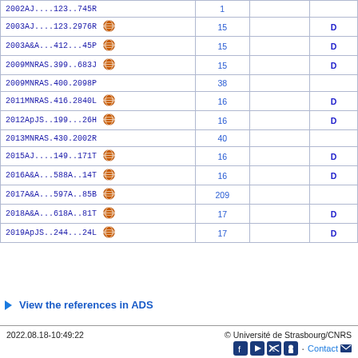| Reference | Nbr |  |  |
| --- | --- | --- | --- |
| 2002AJ....123..745R | 1 |  |  |
| 2003AJ....123.2976R [VizieR] | 15 |  | D |
| 2003A&A...412...45P [VizieR] | 15 |  | D |
| 2009MNRAS.399..683J [VizieR] | 15 |  | D |
| 2009MNRAS.400.2098P | 38 |  |  |
| 2011MNRAS.416.2840L [VizieR] | 16 |  | D |
| 2012ApJS..199...26H [VizieR] | 16 |  | D |
| 2013MNRAS.430.2002R | 40 |  |  |
| 2015AJ....149..171T [VizieR] | 16 |  | D |
| 2016A&A...588A..14T [VizieR] | 16 |  | D |
| 2017A&A...597A..85B [VizieR] | 209 |  |  |
| 2018A&A...618A..81T [VizieR] | 17 |  | D |
| 2019ApJS..244...24L [VizieR] | 17 |  | D |
View the references in ADS
2022.08.18-10:49:22    © Université de Strasbourg/CNRS    Contact